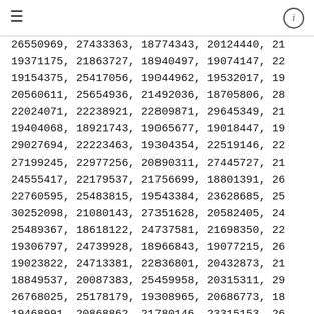≡  ⓘ
26550969, 27433363, 18774343, 20124440, 21...
19371175, 21863727, 18940497, 19074147, 22...
19154375, 25417056, 19044962, 19532017, 19...
20560611, 25654936, 21492036, 18705806, 28...
22024071, 22238921, 22809871, 29645349, 21...
19404068, 18921743, 19065677, 19018447, 19...
29027694, 22223463, 19304354, 22519146, 22...
27199245, 22977256, 20890311, 27445727, 21...
24555417, 22179537, 21756699, 18801391, 26...
22760595, 25483815, 19543384, 23628685, 25...
30252098, 21080143, 27351628, 20582405, 24...
25489367, 18618122, 24737581, 21698350, 22...
19306797, 24739928, 18966843, 19077215, 26...
19023822, 24713381, 22836801, 20432873, 21...
18849537, 20087383, 25459958, 20315311, 29...
26768025, 25178179, 19308965, 20686773, 18...
19468991, 20868862, 21780146, 23315153, 26...
19306965, 20202006, 24821514, 23240258, 2...